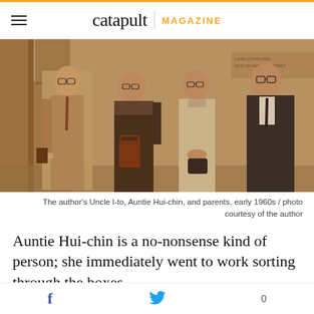catapult | MAGAZINE
[Figure (photo): Sepia-toned photograph of four people standing outdoors in front of a stone building. From left to right: a young man in glasses and a suit, a woman in a dark coat holding a handbag, a woman in a light-colored qipao, and a man in a suit and glasses. Partial signage visible in background. Early 1960s.]
The author's Uncle I-to, Auntie Hui-chin, and parents, early 1960s / photo courtesy of the author
Auntie Hui-chin is a no-nonsense kind of person; she immediately went to work sorting through the boxes,
f  [twitter bird]  0